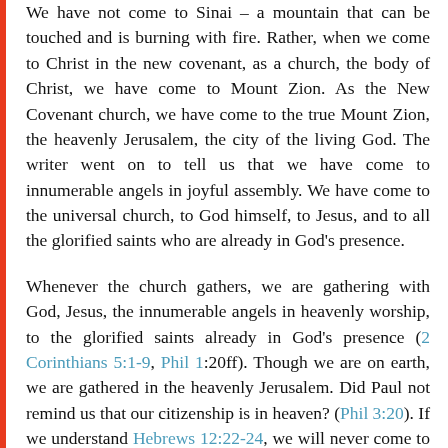We have not come to Sinai – a mountain that can be touched and is burning with fire. Rather, when we come to Christ in the new covenant, as a church, the body of Christ, we have come to Mount Zion. As the New Covenant church, we have come to the true Mount Zion, the heavenly Jerusalem, the city of the living God. The writer went on to tell us that we have come to innumerable angels in joyful assembly. We have come to the universal church, to God himself, to Jesus, and to all the glorified saints who are already in God's presence.
Whenever the church gathers, we are gathering with God, Jesus, the innumerable angels in heavenly worship, to the glorified saints already in God's presence (2 Corinthians 5:1-9, Phil 1:20ff). Though we are on earth, we are gathered in the heavenly Jerusalem. Did Paul not remind us that our citizenship is in heaven? (Phil 3:20). If we understand Hebrews 12:22-24, we will never come to church with indifference again. Something huge